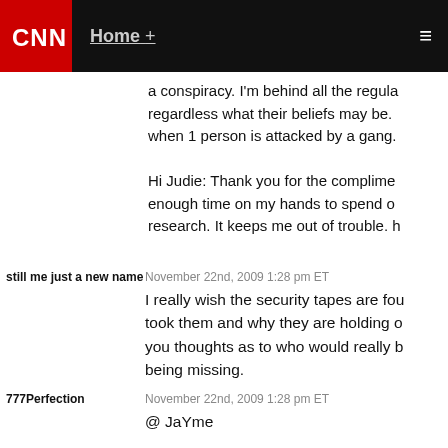CNN | Home +
a conspiracy. I'm behind all the regular folks regardless what their beliefs may be. when 1 person is attacked by a gang.
Hi Judie: Thank you for the compliment. enough time on my hands to spend on research. It keeps me out of trouble. h
still me just a new name
November 22nd, 2009 1:28 pm ET
I really wish the security tapes are found. took them and why they are holding on. you thoughts as to who would really b being missing.
777Perfection
November 22nd, 2009 1:28 pm ET
@ JaYme
I haven't yet, but I would love to see it